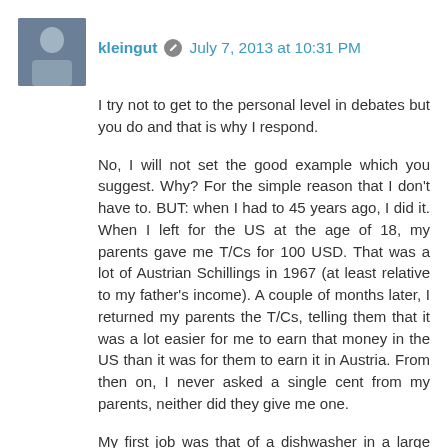kleingut · July 7, 2013 at 10:31 PM
I try not to get to the personal level in debates but you do and that is why I respond.
No, I will not set the good example which you suggest. Why? For the simple reason that I don't have to. BUT: when I had to 45 years ago, I did it. When I left for the US at the age of 18, my parents gave me T/Cs for 100 USD. That was a lot of Austrian Schillings in 1967 (at least relative to my father's income). A couple of months later, I returned my parents the T/Cs, telling them that it was a lot easier for me to earn that money in the US than it was for them to earn it in Austria. From then on, I never asked a single cent from my parents, neither did they give me one.
My first job was that of a dishwasher in a large restaurant for 1,75 USD/hr. My dishwashing colleague was a Greek, the first Greek I ever